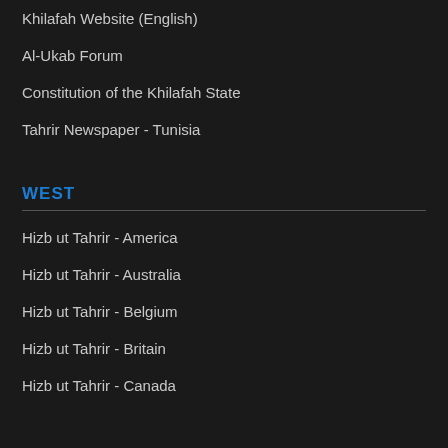Khilafah Website (English)
Al-Ukab Forum
Constitution of the Khilafah State
Tahrir Newspaper - Tunisia
WEST
Hizb ut Tahrir - America
Hizb ut Tahrir - Australia
Hizb ut Tahrir - Belgium
Hizb ut Tahrir - Britain
Hizb ut Tahrir - Canada